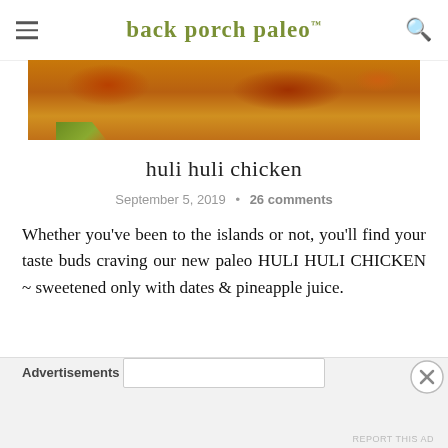back porch paleo™
[Figure (photo): Close-up photo of grilled huli huli chicken with caramelized, charred skin and green leaf garnish]
huli huli chicken
September 5, 2019  •  26 comments
Whether you've been to the islands or not, you'll find your taste buds craving our new paleo HULI HULI CHICKEN ~ sweetened only with dates & pineapple juice.
Advertisements